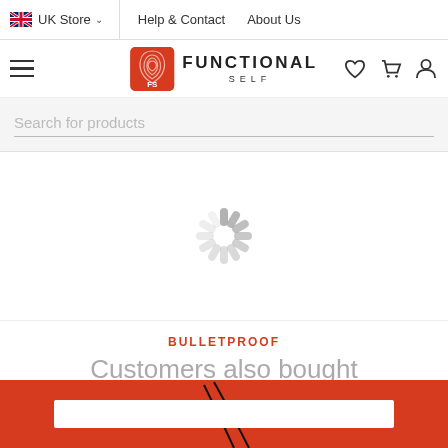UK Store   Help & Contact   About Us
[Figure (logo): Functional Self logo with orange FS badge and text FUNCTIONAL SELF]
Search for products
[Figure (other): Loading spinner (rotating grey dashes)]
BULLETPROOF
Customers also bought